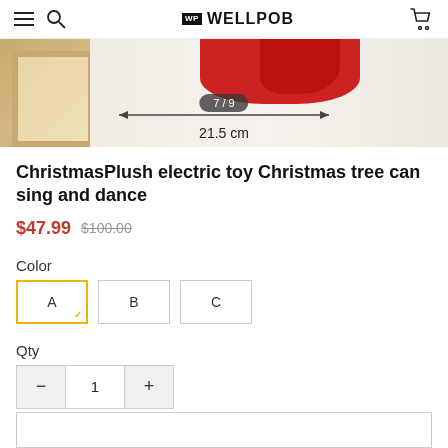WELLPOB
[Figure (photo): Product image showing measurement of 21.5 cm with indicator 7/9]
ChristmasPlush electric toy Christmas tree can sing and dance
$47.99  $100.00
Color
A  B  C
Qty
- 1 +